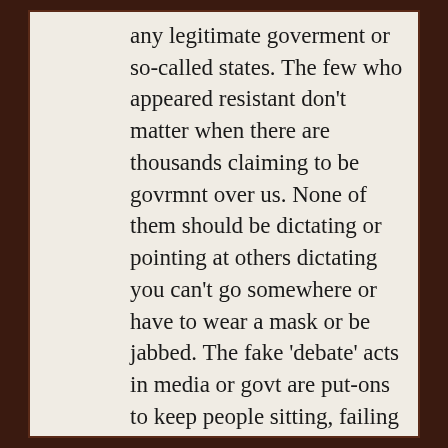any legitimate goverment or so-called states. The few who appeared resistant don't matter when there are thousands claiming to be govrmnt over us. None of them should be dictating or pointing at others dictating you can't go somewhere or have to wear a mask or be jabbed. The fake 'debate' acts in media or govt are put-ons to keep people sitting, failing to act. If they claim to be govrmnt, they are to stand for people's autonomy, self decisions, first, otherwise supposed constitutions are nonsense and govrmt or 'states' are nonsense, so the focus isn't covid or drugs, it's tyranny. Your post sort of